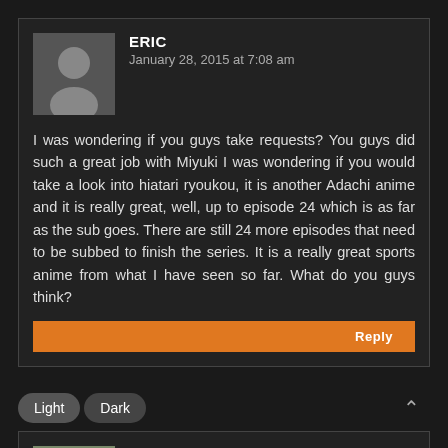ERIC
January 28, 2015 at 7:08 am
I was wondering if you guys take requests? You guys did such a great job with Miyuki I was wondering if you would take a look into hiatari ryoukou, it is another Adachi anime and it is really great, well, up to episode 24 which is as far as the sub goes. There are still 24 more episodes that need to be subbed to finish the series. It is a really great sports anime from what I have seen so far. What do you guys think?
Reply
Light
Dark
FALSEDAWN
January 28, 2015 at 10:14 pm